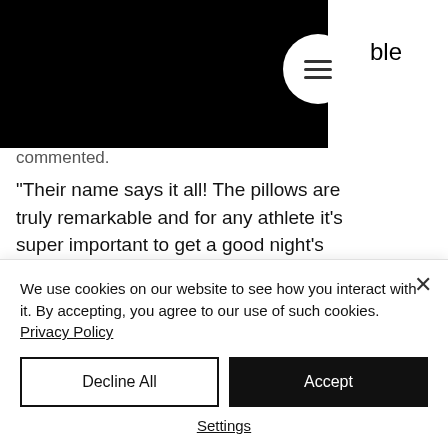[Figure (screenshot): Black navigation header bar with circular menu button icon (three horizontal lines) and partial text 'ble' visible at top right]
commented.
"Their name says it all! The pillows are truly remarkable and for any athlete it's super important to get a good night's sleep." - added Decker before the event.
When the green flag waved, the new Ni...
We use cookies on our website to see how you interact with it. By accepting, you agree to our use of such cookies. Privacy Policy
Decline All
Accept
Settings